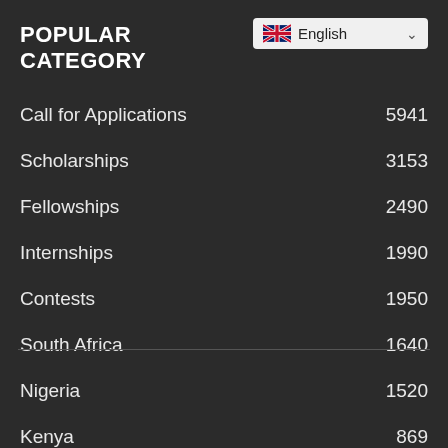POPULAR CATEGORY
Call for Applications  5941
Scholarships  3153
Fellowships  2490
Internships  1990
Contests  1950
South Africa  1640
Nigeria  1520
Kenya  869
Ghana  601